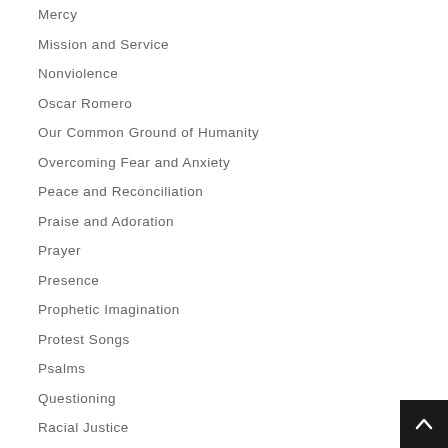Mercy
Mission and Service
Nonviolence
Oscar Romero
Our Common Ground of Humanity
Overcoming Fear and Anxiety
Peace and Reconciliation
Praise and Adoration
Prayer
Presence
Prophetic Imagination
Protest Songs
Psalms
Questioning
Racial Justice
Resurrection
Revelation Here and Now
Salvation
Service
Shalom, Wholeness